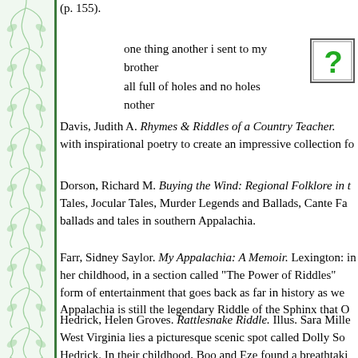(p. 155).
one thing another i sent to my brother
all full of holes and no holes nother
[Figure (illustration): Green question mark icon in a bordered box]
Davis, Judith A. Rhymes & Riddles of a Country Teacher. with inspirational poetry to create an impressive collection fo
Dorson, Richard M. Buying the Wind: Regional Folklore in t Tales, Jocular Tales, Murder Legends and Ballads, Cante Fa ballads and tales in southern Appalachia.
Farr, Sidney Saylor. My Appalachia: A Memoir. Lexington: in her childhood, in a section called "The Power of Riddles" form of entertainment that goes back as far in history as we Appalachia is still the legendary Riddle of the Sphinx that O
Hedrick, Helen Groves. Rattlesnake Riddle. Illus. Sara Mille West Virginia lies a picturesque scenic spot called Dolly So Hedrick. In their childhood, Boo and Eze found a breathtaki enjoying the warmth of a bright spring day. While it lay ver became a teacher and inspired many children to look, listen will remember for a long time. The secretive riddle is reveale